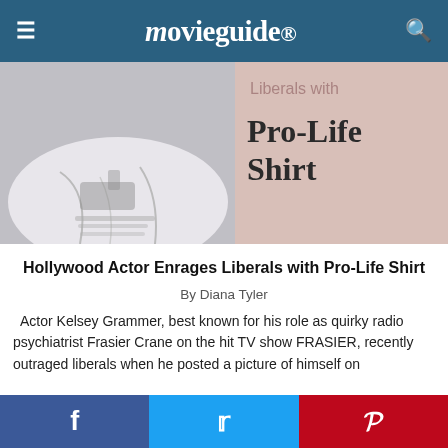movieguide®
[Figure (photo): Hero image showing a person wearing a pro-life t-shirt with a blurred gun graphic, overlaid with text reading 'Liberals with Pro-Life Shirt' on a pink/beige background]
Hollywood Actor Enrages Liberals with Pro-Life Shirt
By Diana Tyler
Actor Kelsey Grammer, best known for his role as quirky radio psychiatrist Frasier Crane on the hit TV show FRASIER, recently outraged liberals when he posted a picture of himself on Instagram wearing a politically-charged shirt. The shirt bore the
f  Twitter  Pinterest social sharing bar